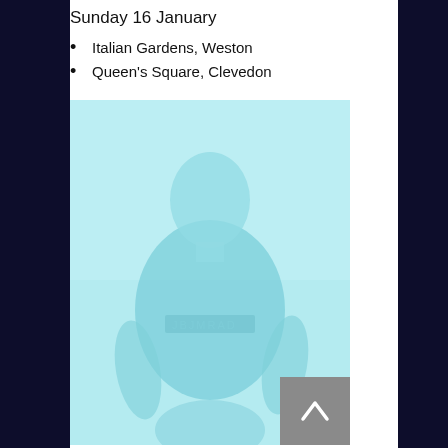Sunday 16 January
Italian Gardens, Weston
Queen's Square, Clevedon
[Figure (photo): Faded light-blue tinted photograph of a person (man) standing and wearing a dark sweatshirt with text on it, appearing to hold something. The image has a washed-out cyan/light blue color cast.]